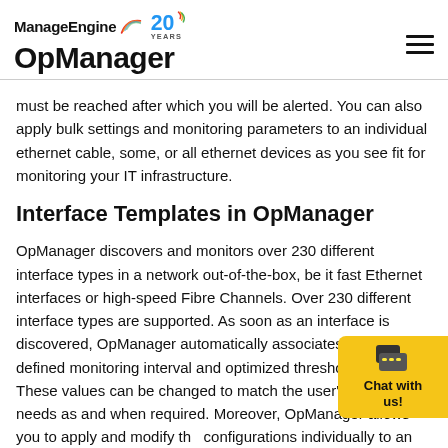ManageEngine OpManager
must be reached after which you will be alerted. You can also apply bulk settings and monitoring parameters to an individual ethernet cable, some, or all ethernet devices as you see fit for monitoring your IT infrastructure.
Interface Templates in OpManager
OpManager discovers and monitors over 230 different interface types in a network out-of-the-box, be it fast Ethernet interfaces or high-speed Fibre Channels. Over 230 different interface types are supported. As soon as an interface is discovered, OpManager automatically associates a user-defined monitoring interval and optimized threshold limits. These values can be changed to match the user's monitoring needs as and when required. Moreover, OpManager allows you to apply and modify the configurations individually to an interface or in bulk to a number of